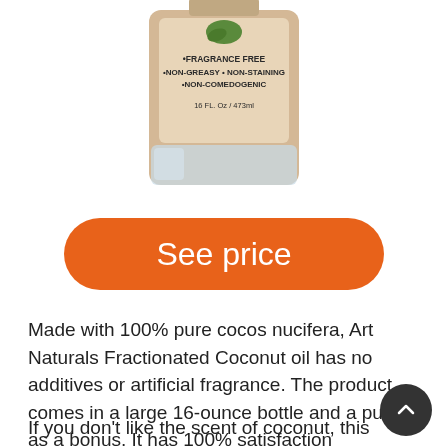[Figure (photo): Product bottle of Art Naturals Fractionated Coconut Oil, 16 FL Oz / 473ml, with label text: fragrance free, non-greasy, non-staining, non-comedogenic]
See price
Made with 100% pure cocos nucifera, Art Naturals Fractionated Coconut oil has no additives or artificial fragrance. The product comes in a large 16-ounce bottle and a pump as a bonus. It has 100% satisfaction guarantee ensuring a money back offer.
If you don't like the scent of coconut, this probably the oil for you because there is no